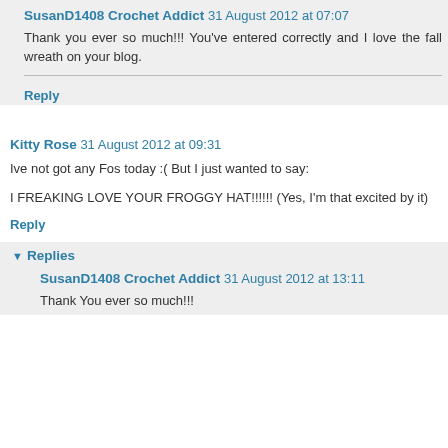SusanD1408 Crochet Addict 31 August 2012 at 07:07
Thank you ever so much!!! You've entered correctly and I love the fall wreath on your blog.
Reply
Kitty Rose 31 August 2012 at 09:31
Ive not got any Fos today :( But I just wanted to say:
I FREAKING LOVE YOUR FROGGY HAT!!!!!! (Yes, I'm that excited by it)
Reply
Replies
SusanD1408 Crochet Addict 31 August 2012 at 13:11
Thank You ever so much!!!